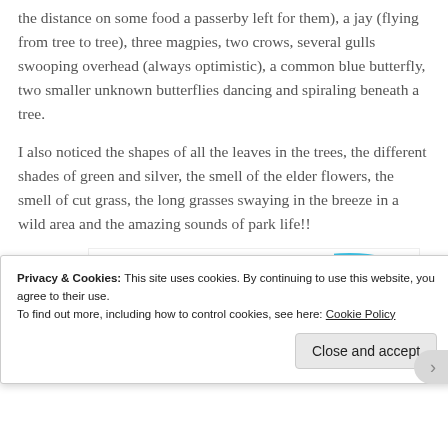the distance on some food a passerby left for them), a jay (flying from tree to tree), three magpies, two crows, several gulls swooping overhead (always optimistic), a common blue butterfly, two smaller unknown butterflies dancing and spiraling beneath a tree.
I also noticed the shapes of all the leaves in the trees, the different shades of green and silver, the smell of the elder flowers, the smell of cut grass, the long grasses swaying in the breeze in a wild area and the amazing sounds of park life!!
[Figure (other): Advertisement banner partially visible: 'How to start selling subscriptions online' with a purple button partially visible and a cyan/blue shape on the right side.]
Privacy & Cookies: This site uses cookies. By continuing to use this website, you agree to their use.
To find out more, including how to control cookies, see here: Cookie Policy
Close and accept